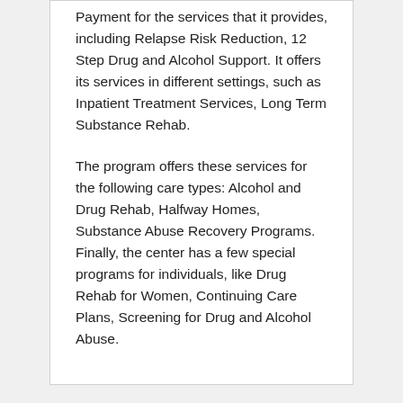Payment for the services that it provides, including Relapse Risk Reduction, 12 Step Drug and Alcohol Support. It offers its services in different settings, such as Inpatient Treatment Services, Long Term Substance Rehab.
The program offers these services for the following care types: Alcohol and Drug Rehab, Halfway Homes, Substance Abuse Recovery Programs. Finally, the center has a few special programs for individuals, like Drug Rehab for Women, Continuing Care Plans, Screening for Drug and Alcohol Abuse.